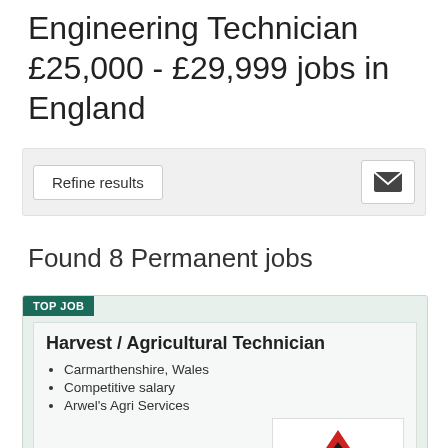Engineering Technician £25,000 - £29,999 jobs in England
[Figure (screenshot): Refine results button bar with email alert icon]
Found 8 Permanent jobs
TOP JOB
Harvest / Agricultural Technician
Carmarthenshire, Wales
Competitive salary
Arwel's Agri Services
[Figure (logo): Arwel's Agri Services logo with red and black triangle/arrow mark]
We would like to recruit an experienced Harvest /...